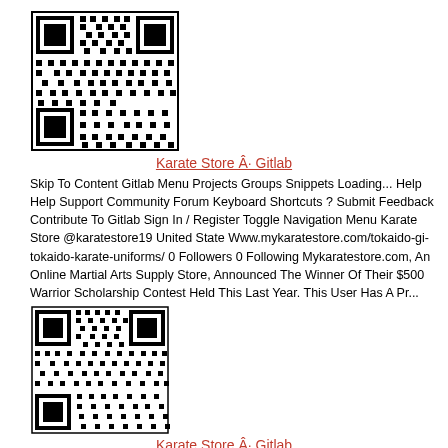[Figure (other): QR code image linking to Karate Store Gitlab page]
Karate Store Â· Gitlab
Skip To Content Gitlab Menu Projects Groups Snippets Loading... Help Help Support Community Forum Keyboard Shortcuts ? Submit Feedback Contribute To Gitlab Sign In / Register Toggle Navigation Menu Karate Store @karatestore19 United State Www.mykaratestore.com/tokaido-gi-tokaido-karate-uniforms/ 0 Followers 0 Following Mykaratestore.com, An Online Martial Arts Supply Store, Announced The Winner Of Their $500 Warrior Scholarship Contest Held This Last Year. This User Has A Pr...
[Figure (other): QR code image linking to Karate Store Gitlab page (second instance)]
Karate Store Â· Gitlab
Skip To Content Gitlab Menu Projects Groups Snippets Loading... Help Help Support Community Forum Keyboard Shortcuts ?